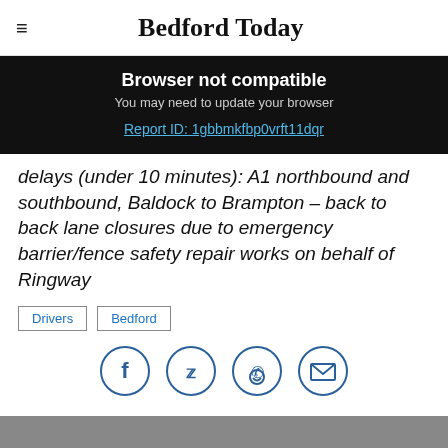Bedford Today
Browser not compatible
You may need to update your browser
Report ID: 1gbbmkfbp0vrft11dqr
delays (under 10 minutes): A1 northbound and southbound, Baldock to Brampton – back to back lane closures due to emergency barrier/fence safety repair works on behalf of Ringway
Drivers
Bedford
[Figure (other): Social sharing icons: Facebook, Twitter, WhatsApp, Email]